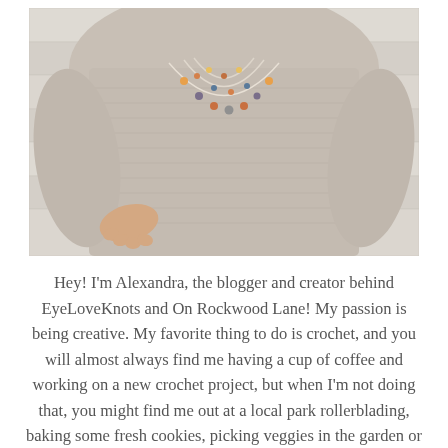[Figure (photo): A woman wearing a beige/tan fitted long-sleeve top with layered crocheted necklaces with colorful beads, standing against a rustic white wooden plank background. Only the torso is visible, with one hand on her hip.]
Hey! I'm Alexandra, the blogger and creator behind EyeLoveKnots and On Rockwood Lane! My passion is being creative. My favorite thing to do is crochet, and you will almost always find me having a cup of coffee and working on a new crochet project, but when I'm not doing that, you might find me out at a local park rollerblading, baking some fresh cookies, picking veggies in the garden or re-decorating for a new season or holiday. My two cats are great supervisors for all my adventures (minus the being outside because